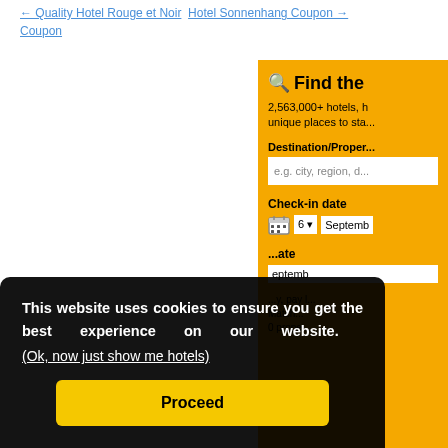← Quality Hotel Rouge et Noir  Hotel Sonnenhang Coupon →
Coupon
[Figure (screenshot): Partially visible booking.com-style hotel search widget on orange background, showing 'Find the' heading with search icon, '2,563,000+ hotels, h... unique places to sta...' subtext, Destination/Property label, text input with placeholder 'e.g. city, region, d...', Check-in date label, calendar icon with day dropdown showing '6' and month field showing 'Septemb', check-out date area showing 'ate' and 'eptemb', and footer text about 'pay l... Match... 0 prope...']
This website uses cookies to ensure you get the best experience on our website.
(Ok, now just show me hotels)
Proceed